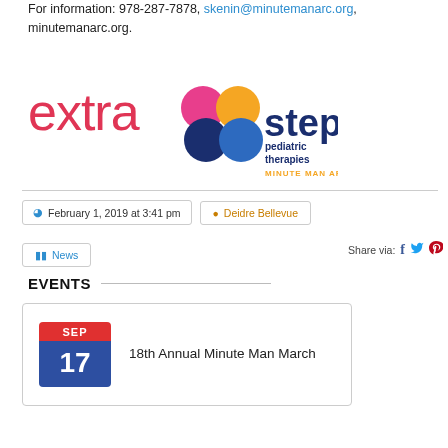For information: 978-287-7878, skenin@minutemanarc.org, minutemanarc.org.
[Figure (logo): Extra Steps Pediatric Therapies Minute Man Arc logo with colorful circles and text]
February 1, 2019 at 3:41 pm
Deidre Bellevue
News
Share via:
EVENTS
18th Annual Minute Man March
SEP 17